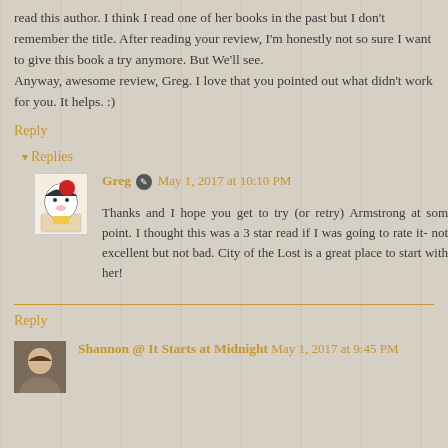read this author. I think I read one of her books in the past but I don't remember the title. After reading your review, I'm honestly not so sure I want to give this book a try anymore. But We'll see.
Anyway, awesome review, Greg. I love that you pointed out what didn't work for you. It helps. :)
Reply
Replies
Greg   May 1, 2017 at 10:10 PM
Thanks and I hope you get to try (or retry) Armstrong at som point. I thought this was a 3 star read if I was going to rate it- not excellent but not bad. City of the Lost is a great place to start with her!
Reply
Shannon @ It Starts at Midnight  May 1, 2017 at 9:45 PM